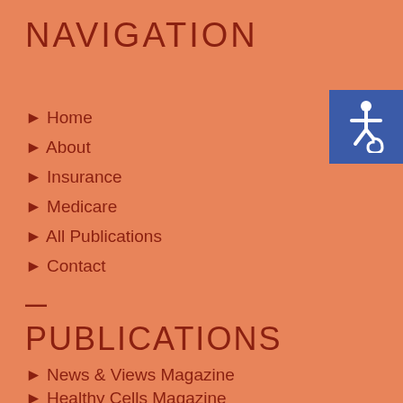NAVIGATION
► Home
► About
► Insurance
► Medicare
► All Publications
► Contact
[Figure (logo): Accessibility icon - wheelchair symbol on blue background]
PUBLICATIONS
► News & Views Magazine
► Healthy Cells Magazine
► MRMS Articles
FOLLOW
[Figure (logo): Google reCAPTCHA logo with Privacy and Terms links]